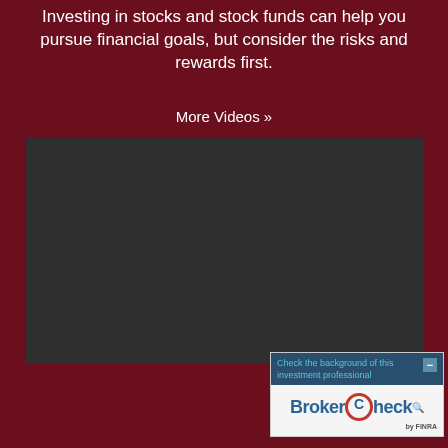Investing in stocks and stock funds can help you pursue financial goals, but consider the risks and rewards first.
More Videos »
[Figure (screenshot): Dark gray video player placeholder rectangle]
[Figure (screenshot): BrokerCheck by FINRA widget — header reads 'Check the background of this investment professional' on dark blue background with minus button, below is BrokerCheck logo on light background with 'by FINRA' text]